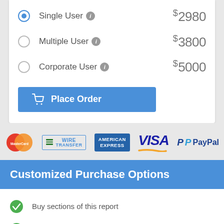Single User  $2980
Multiple User  $3800
Corporate User  $5000
Place Order
[Figure (logo): Payment method logos: MasterCard, Wire Transfer, American Express, VISA, PayPal]
Customized Purchase Options
Buy sections of this report
Buy country level reports